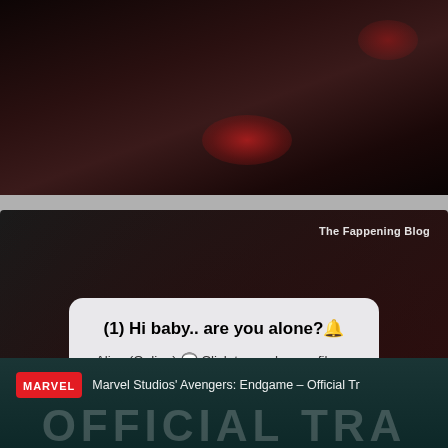[Figure (screenshot): Dark movie scene screenshot (top panel), likely superhero film with red glow effects]
[Figure (screenshot): Browser/app screenshot showing a dark background with a popup dialog overlay. Watermark reads 'The Fappening Blog'. Dialog box shows spam/phishing message: '(1) Hi baby.. are you alone?🔔' with subtitle 'Alice (Online) 💬 Click to see her profile ←' and two buttons: CANCEL and OK]
[Figure (screenshot): YouTube video thumbnail showing Marvel Studios Avengers: Endgame - Official Trailer with large 'OFFICIAL TRA' text overlay and Marvel logo]